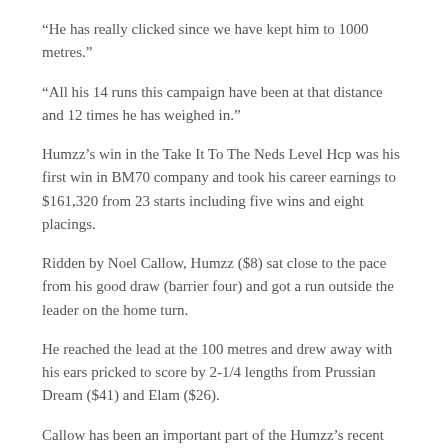“He has really clicked since we have kept him to 1000 metres.”
“All his 14 runs this campaign have been at that distance and 12 times he has weighed in.”
Humzz’s win in the Take It To The Neds Level Hcp was his first win in BM70 company and took his career earnings to $161,320 from 23 starts including five wins and eight placings.
Ridden by Noel Callow, Humzz ($8) sat close to the pace from his good draw (barrier four) and got a run outside the leader on the home turn.
He reached the lead at the 100 metres and drew away with his ears pricked to score by 2-1/4 lengths from Prussian Dream ($41) and Elam ($26).
Callow has been an important part of the Humzz’s recent success and ridden him at six of his last seven